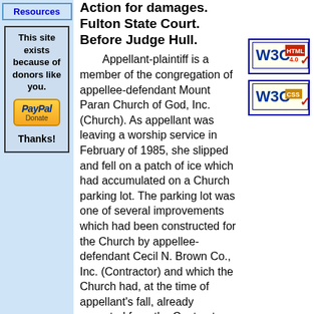Resources
This site exists because of donors like you.
[Figure (logo): PayPal Donate button]
Thanks!
Action for damages. Fulton State Court. Before Judge Hull.
Appellant-plaintiff is a member of the congregation of appellee-defendant Mount Paran Church of God, Inc. (Church). As appellant was leaving a worship service in February of 1985, she slipped and fell on a patch of ice which had accumulated on a Church parking lot. The parking lot was one of several improvements which had been constructed for the Church by appellee-defendant Cecil N. Brown Co., Inc. (Contractor) and which the Church had, at the time of appellant's fall, already accepted from the Contractor as completed projects. As the result of her fall, the issue was alleged to
[Figure (logo): W3C HTML 4.0 validation badge]
[Figure (logo): W3C CSS validation badge]